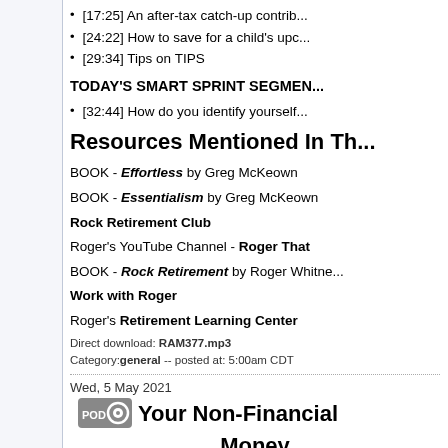[17:25] An after-tax catch-up contrib...
[24:22] How to save for a child's upc...
[29:34] Tips on TIPS
TODAY'S SMART SPRINT SEGMEN...
[32:44] How do you identify yourself...
Resources Mentioned In Th...
BOOK - Effortless by Greg McKeown
BOOK - Essentialism by Greg McKeown
Rock Retirement Club
Roger's YouTube Channel - Roger That
BOOK - Rock Retirement by Roger Whitne...
Work with Roger
Roger's Retirement Learning Center
Direct download: RAM377.mp3
Category: general -- posted at: 5:00am CDT
Wed, 5 May 2021
Your Non-Financial Money
Retirement is about much more than finance... everything. To have a successful retirement... everything else.